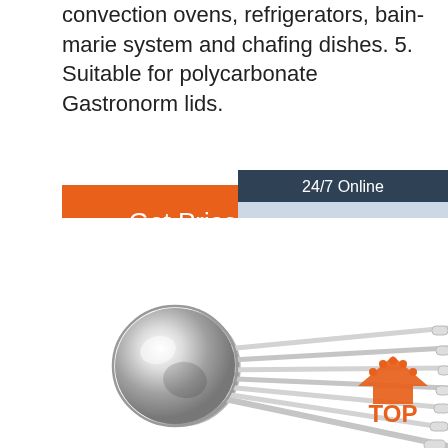convection ovens, refrigerators, bain-marie system and chafing dishes. 5. Suitable for polycarbonate Gastronorm lids.
[Figure (other): Orange 'Get Price' button]
[Figure (other): 24/7 Online customer service chat box with photo of woman wearing headset, 'Click here for free chat!' text and orange QUOTATION button]
[Figure (photo): Multiple stainless steel spoons fanned out showing bowl end on left and handles extending to the right]
[Figure (logo): TOP badge/logo with orange house icon and dotted arc above text 'TOP']